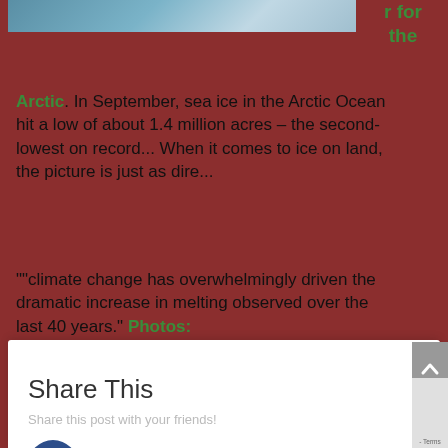[Figure (photo): Arctic ocean/ice scene photo cropped at top]
r for the
Arctic. In September, sea ice in the Arctic Ocean hit a low of about 1.4 million acres – the second-lowest on record... When it comes to ice on land, the picture is just as dire...
""climate change has overwhelmingly driven the dramatic increase in melting observed over the last 40 years." Photos:
Share This
Share this post with your friends!
Facebook
Twitter